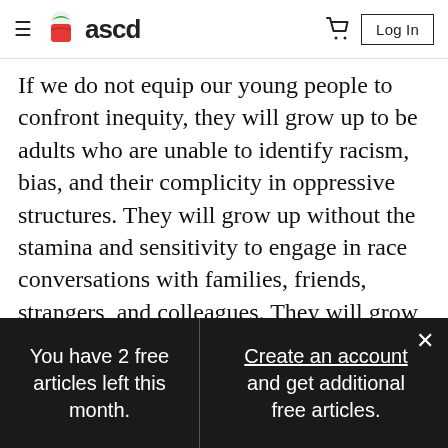ascd
If we do not equip our young people to confront inequity, they will grow up to be adults who are unable to identify racism, bias, and their complicity in oppressive structures. They will grow up without the stamina and sensitivity to engage in race conversations with families, friends, strangers, and colleagues. They will grow up without the preparation or empowerment to disrupt the cycle of
You have 2 free articles left this month.
Create an account and get additional free articles.